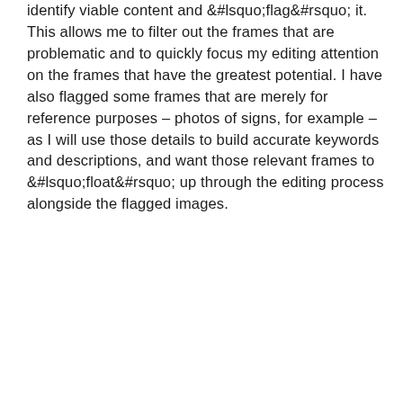identify viable content and 'flag' it. This allows me to filter out the frames that are problematic and to quickly focus my editing attention on the frames that have the greatest potential. I have also flagged some frames that are merely for reference purposes – photos of signs, for example – as I will use those details to build accurate keywords and descriptions, and want those relevant frames to 'float' up through the editing process alongside the flagged images.